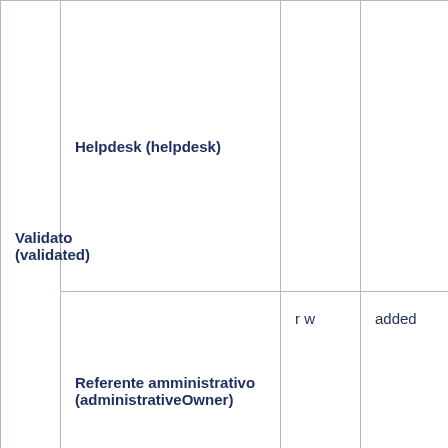| Validato (validated) | Helpdesk (helpdesk) |  |  |
|  | Referente amministrativo (administrativeOwner) | r w | added |